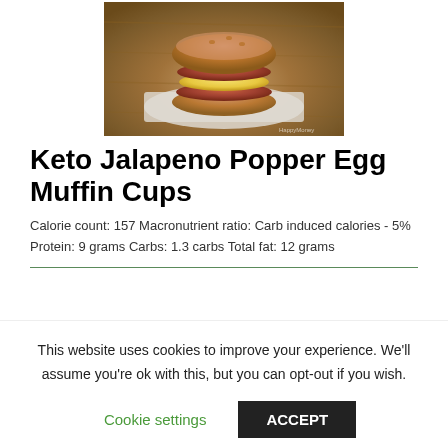[Figure (photo): A keto jalapeno popper egg muffin cup sandwich stacked on white napkin on wooden surface]
Keto Jalapeno Popper Egg Muffin Cups
Calorie count: 157 Macronutrient ratio: Carb induced calories - 5% Protein: 9 grams Carbs: 1.3 carbs Total fat: 12 grams
This website uses cookies to improve your experience. We'll assume you're ok with this, but you can opt-out if you wish.